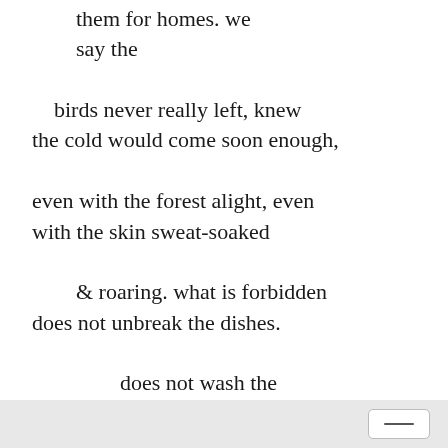them for homes. we say the

    birds never really left, knew
the cold would come soon enough,

even with the forest alight, even
with the skin sweat-soaked

    & roaring. what is forbidden
does not unbreak the dishes.

        does not wash the
    dinner off the walls. what is
    forbidden

            but the hips,
        untethered? unearthed
        from the burial they
        did not deserve?